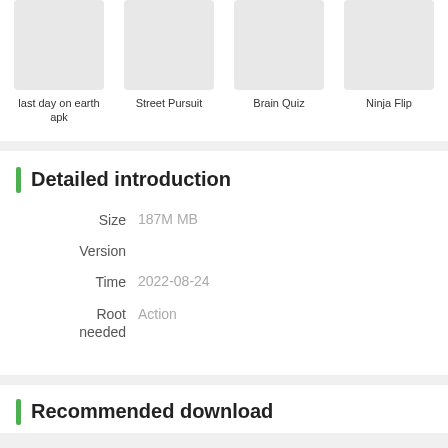[Figure (screenshot): Four app thumbnails in a row: last day on earth apk, Street Pursuit, Brain Quiz, Ninja Flip]
last day on earth apk
Street Pursuit
Brain Quiz
Ninja Flip
Detailed introduction
Size   187M MB
Version
Time   2022-08-24
Root needed   Action
Recommended download